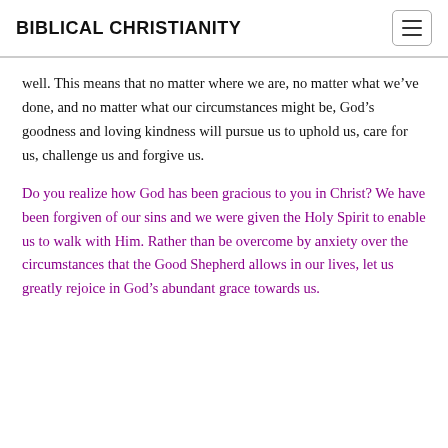BIBLICAL CHRISTIANITY
well. This means that no matter where we are, no matter what we’ve done, and no matter what our circumstances might be, God’s goodness and loving kindness will pursue us to uphold us, care for us, challenge us and forgive us.
Do you realize how God has been gracious to you in Christ? We have been forgiven of our sins and we were given the Holy Spirit to enable us to walk with Him. Rather than be overcome by anxiety over the circumstances that the Good Shepherd allows in our lives, let us greatly rejoice in God’s abundant grace towards us.